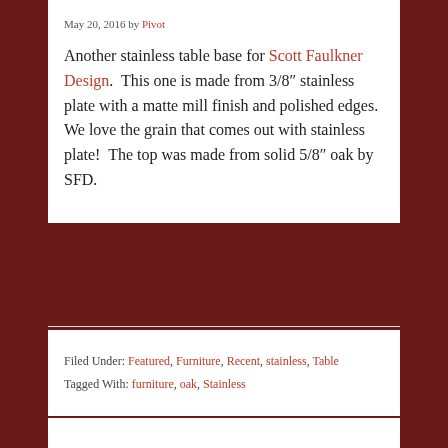May 20, 2016 by Pivot
Another stainless table base for Scott Faulkner Design.  This one is made from 3/8″ stainless plate with a matte mill finish and polished edges.  We love the grain that comes out with stainless plate!  The top was made from solid 5/8″ oak by SFD.
Filed Under: Featured, Furniture, Recent, stainless, Table
Tagged With: furniture, oak, Stainless